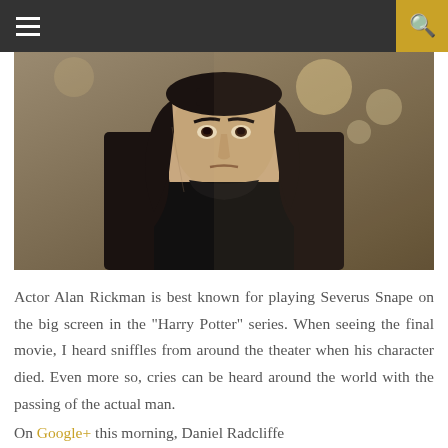Navigation bar with hamburger menu and search icon
[Figure (photo): Actor Alan Rickman in character as Severus Snape — a pale man with long black hair wearing a black turtleneck, against a blurred warm-lit background]
Actor Alan Rickman is best known for playing Severus Snape on the big screen in the "Harry Potter" series. When seeing the final movie, I heard sniffles from around the theater when his character died. Even more so, cries can be heard around the world with the passing of the actual man.
On Google+ this morning, Daniel Radcliffe